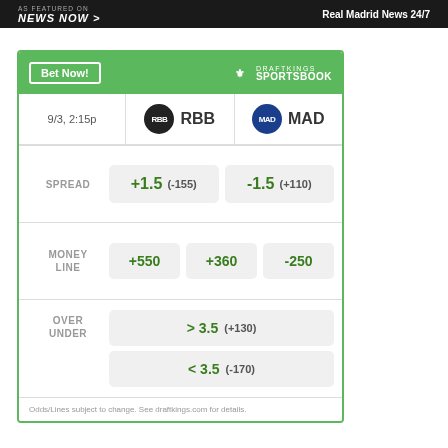[Figure (screenshot): News Now banner advertisement - dark background with 'AS FEATURED ON NEWS NOW >' on left and 'Real Madrid News 24/7' on right]
|  | RBB | MAD |
| --- | --- | --- |
| 9/3, 2:15p | RBB | MAD |
| SPREAD | +1.5 (-155) | -1.5 (+110) |
| MONEY LINE | +550 | +360 / -250 |
| OVER UNDER | > 3.5 (+130) | < 3.5 (-170) |
Odds/Lines subject to change. See draftkings.com for details.